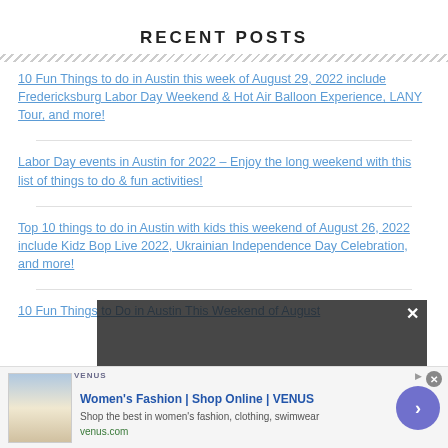RECENT POSTS
10 Fun Things to do in Austin this week of August 29, 2022 include Fredericksburg Labor Day Weekend & Hot Air Balloon Experience, LANY Tour, and more!
Labor Day events in Austin for 2022 – Enjoy the long weekend with this list of things to do & fun activities!
Top 10 things to do in Austin with kids this weekend of August 26, 2022 include Kidz Bop Live 2022, Ukrainian Independence Day Celebration, and more!
10 Fun Things to Do in Austin This Weekend of August
[Figure (screenshot): Video player overlay popup with text 'No compatible source was found for this media.' with a close X button]
[Figure (screenshot): Advertisement banner for Women's Fashion | Shop Online | VENUS - 'Shop the best in women's fashion, clothing, swimwear' at venus.com with arrow button]